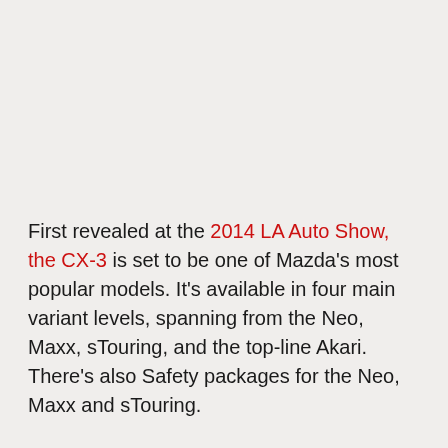First revealed at the 2014 LA Auto Show, the CX-3 is set to be one of Mazda's most popular models. It's available in four main variant levels, spanning from the Neo, Maxx, sTouring, and the top-line Akari. There's also Safety packages for the Neo, Maxx and sTouring.